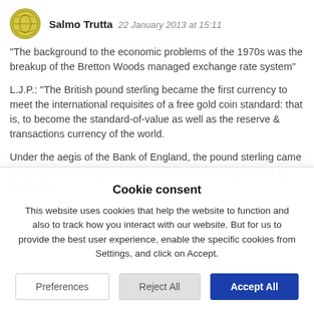Salmo Trutta  22 January 2013 at 15:11
"The background to the economic problems of the 1970s was the breakup of the Bretton Woods managed exchange rate system"
L.J.P.: "The British pound sterling became the first currency to meet the international requisites of a free gold coin standard: that is, to become the standard-of-value as well as the reserve & transactions currency of the world.
Under the aegis of the Bank of England, the pound sterling came to be regarded as "good as gold". The paper money issued by the Bank
Cookie consent
This website uses cookies that help the website to function and also to track how you interact with our website. But for us to provide the best user experience, enable the specific cookies from Settings, and click on Accept.
Preferences
Reject All
Accept All